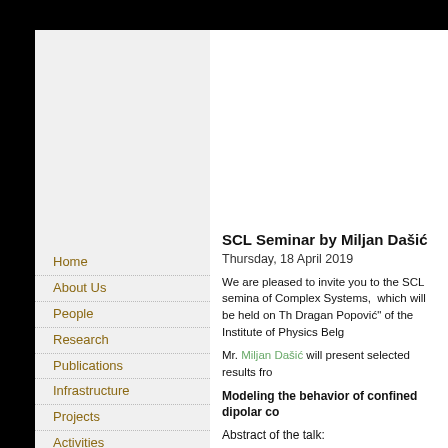Home
About Us
People
Research
Publications
Infrastructure
Projects
Activities
Promo Material
Contact SCL
Links
Search SCL
SCL Seminar by Miljan Dašić
Thursday, 18 April 2019
We are pleased to invite you to the SCL seminar of Complex Systems, which will be held on Th... Dragan Popović" of the Institute of Physics Belg...
Mr. Miljan Dašić will present selected results fro...
Modeling the behavior of confined dipolar co...
Abstract of the talk:
Self-assembly of hard spheres with permanent... composed of dipolar hard spheres) has bee... phenomena related to the lubrication with i... simulations has been developed [2, 3, 4]. Two ... tailed model (TM) [4] have been implemented. T... carefully studied under static and dynamic cond... comes from the fact that their structure and be... interaction (which is in addition, anisotropic)...